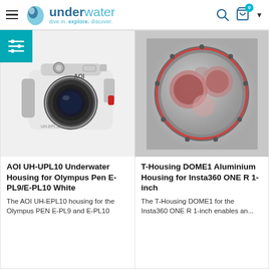underwater - dive in. explore. discover.
[Figure (photo): AOI UH-UPL10 underwater camera housing for Olympus Pen, white colored housing with lens visible, AOI branding on top]
[Figure (photo): T-Housing DOME1 Aluminium Housing for Insta360 ONE R 1-inch, circular dome port with red trim and screws visible]
AOI UH-UPL10 Underwater Housing for Olympus Pen E-PL9/E-PL10 White
The AOI UH-EPL10 housing for the Olympus PEN E-PL9 and E-PL10
T-Housing DOME1 Aluminium Housing for Insta360 ONE R 1-inch
The T-Housing DOME1 for the Insta360 ONE R 1-inch enables an...